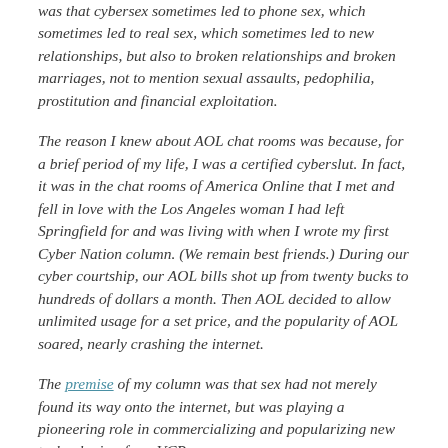was that cybersex sometimes led to phone sex, which sometimes led to real sex, which sometimes led to new relationships, but also to broken relationships and broken marriages, not to mention sexual assaults, pedophilia, prostitution and financial exploitation.
The reason I knew about AOL chat rooms was because, for a brief period of my life, I was a certified cyberslut. In fact, it was in the chat rooms of America Online that I met and fell in love with the Los Angeles woman I had left Springfield for and was living with when I wrote my first Cyber Nation column. (We remain best friends.) During our cyber courtship, our AOL bills shot up from twenty bucks to hundreds of dollars a month. Then AOL decided to allow unlimited usage for a set price, and the popularity of AOL soared, nearly crashing the internet.
The premise of my column was that sex had not merely found its way onto the internet, but was playing a pioneering role in commercializing and popularizing new technologies, from VCRs